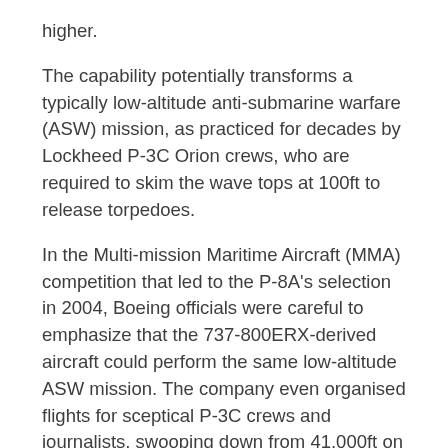higher.
The capability potentially transforms a typically low-altitude anti-submarine warfare (ASW) mission, as practiced for decades by Lockheed P-3C Orion crews, who are required to skim the wave tops at 100ft to release torpedoes.
In the Multi-mission Maritime Aircraft (MMA) competition that led to the P-8A's selection in 2004, Boeing officials were careful to emphasize that the 737-800ERX-derived aircraft could perform the same low-altitude ASW mission. The company even organised flights for sceptical P-3C crews and journalists, swooping down from 41,000ft on an ocean vessel, leveling off at 200ft and performing tight turns to make multiple surveillance passes of a simulated target.
Despite the company's marketing, the navy's ASW community were already eager to dispense with such